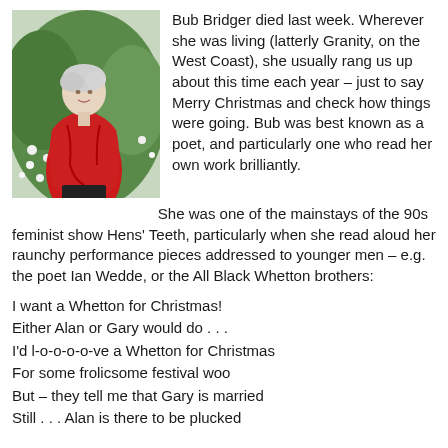[Figure (photo): Elderly woman with white hair wearing a bright red shawl/wrap, standing outdoors with green foliage and white flowers in the background, photographed from behind/side at an angle.]
Bub Bridger died last week. Wherever she was living (latterly Granity, on the West Coast), she usually rang us up about this time each year – just to say Merry Christmas and check how things were going. Bub was best known as a poet, and particularly one who read her own work brilliantly.

She was one of the mainstays of the 90s feminist show Hens' Teeth, particularly when she read aloud her raunchy performance pieces addressed to younger men – e.g. the poet Ian Wedde, or the All Black Whetton brothers:
I want a Whetton for Christmas!
Either Alan or Gary would do . . .
I'd l-o-o-o-o-ve a Whetton for Christmas
For some frolicsome festival woo
But – they tell me that Gary is married
Still . . . Alan is there to be plucked